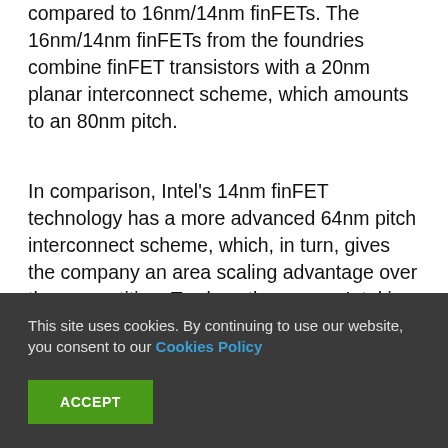compared to 16nm/14nm finFETs. The 16nm/14nm finFETs from the foundries combine finFET transistors with a 20nm planar interconnect scheme, which amounts to an 80nm pitch.
In comparison, Intel's 14nm finFET technology has a more advanced 64nm pitch interconnect scheme, which, in turn, gives the company an area scaling advantage over the competition. To close the gap on Intel in area scaling, the foundries will bring out finFETs with a more advanced interconnect scheme at 10nm. But to achieve this, one of the foundries
This site uses cookies. By continuing to use our website, you consent to our Cookies Policy
ACCEPT